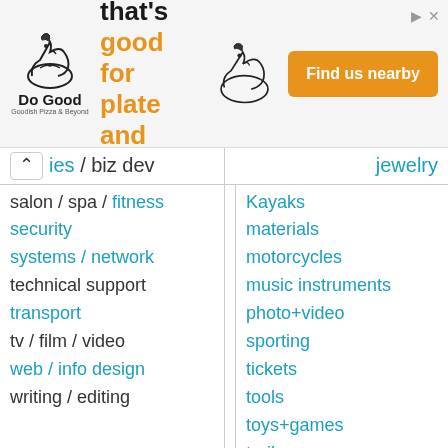[Figure (illustration): Do Good Chicken advertisement banner with logo, tagline 'Chicken that's good for plate and planet.' in orange and black, a chicken illustration, and an orange 'Find us nearby' button]
ies / biz dev
salon / spa / fitness
security
systems / network
technical support
transport
tv / film / video
web / info design
writing / editing
jewelry
Kayaks
materials
motorcycles
music instruments
photo+video
sporting
tickets
tools
toys+games
trailers
video gaming
wheels+tires